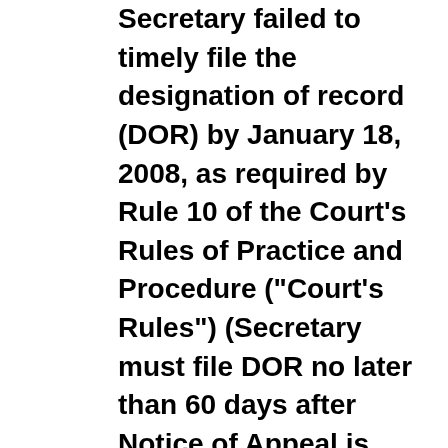Secretary failed to timely file the designation of record (DOR) by January 18, 2008, as required by Rule 10 of the Court's Rules of Practice and Procedure ("Court's Rules") (Secretary must file DOR no later than 60 days after Notice of Appeal is filed, which in this case was filed on October 23, 2007). Over the ensuing months, and in lieu of